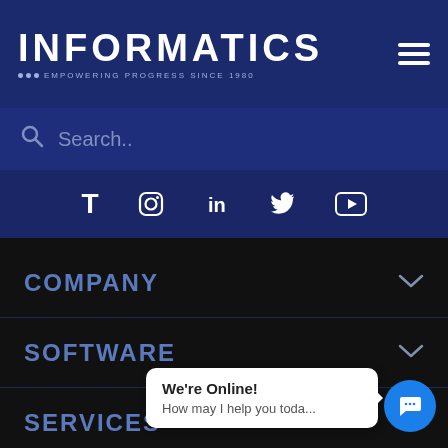[Figure (logo): Informatics logo with text INFORMATICS and tagline EMPOWERING PROGRESS SINCE 1980 on dark navy background, with hamburger menu icon on the right]
Search..
[Figure (infographic): Social media icons row: T (TikTok), Instagram, LinkedIn, Twitter, YouTube on dark navy background]
COMPANY
SOFTWARE
SERVICES
We're Online!
How may I help you toda...